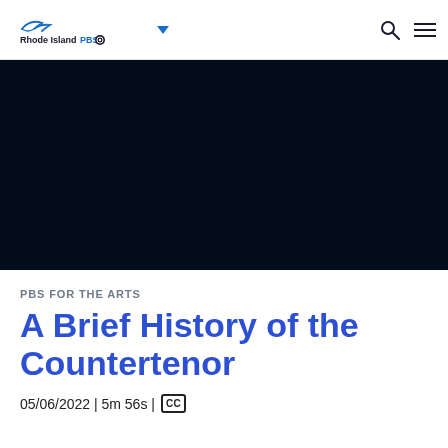Rhode Island PBS
[Figure (screenshot): Dark navy/black video player area, blank/paused video]
PBS FOR THE ARTS
A Brief History of the Countertenor
05/06/2022 | 5m 56s | CC